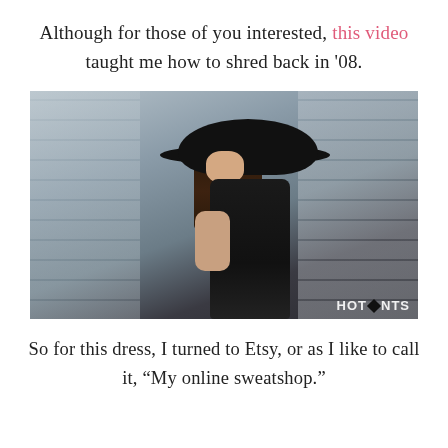Although for those of you interested, this video taught me how to shred back in '08.
[Figure (photo): Fashion photo of a woman in a black hat and black outfit posing against a white brick wall. Watermark reads 'HOTPANTS' in the lower right corner.]
So for this dress, I turned to Etsy, or as I like to call it, "My online sweatshop."